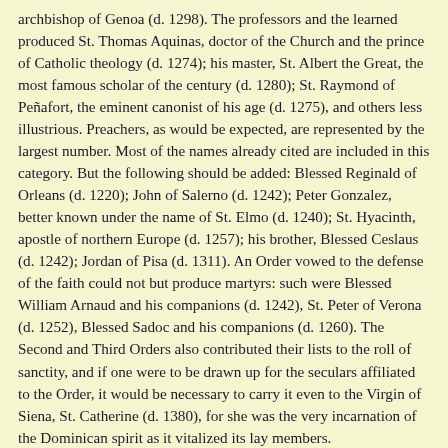archbishop of Genoa (d. 1298). The professors and the learned produced St. Thomas Aquinas, doctor of the Church and the prince of Catholic theology (d. 1274); his master, St. Albert the Great, the most famous scholar of the century (d. 1280); St. Raymond of Peñafort, the eminent canonist of his age (d. 1275), and others less illustrious. Preachers, as would be expected, are represented by the largest number. Most of the names already cited are included in this category. But the following should be added: Blessed Reginald of Orleans (d. 1220); John of Salerno (d. 1242); Peter Gonzalez, better known under the name of St. Elmo (d. 1240); St. Hyacinth, apostle of northern Europe (d. 1257); his brother, Blessed Ceslaus (d. 1242); Jordan of Pisa (d. 1311). An Order vowed to the defense of the faith could not but produce martyrs: such were Blessed William Arnaud and his companions (d. 1242), St. Peter of Verona (d. 1252), Blessed Sadoc and his companions (d. 1260). The Second and Third Orders also contributed their lists to the roll of sanctity, and if one were to be drawn up for the seculars affiliated to the Order, it would be necessary to carry it even to the Virgin of Siena, St. Catherine (d. 1380), for she was the very incarnation of the Dominican spirit as it vitalized its lay members.